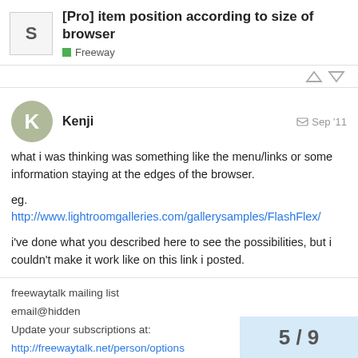[Pro] item position according to size of browser — Freeway
what i was thinking was something like the menu/links or some information staying at the edges of the browser.

eg.
http://www.lightroomgalleries.com/gallerysamples/FlashFlex/

i've done what you described here to see the possibilities, but i couldn't make it work like on this link i posted.
freewaytalk mailing list
email@hidden
Update your subscriptions at:
http://freewaytalk.net/person/options
5 / 9